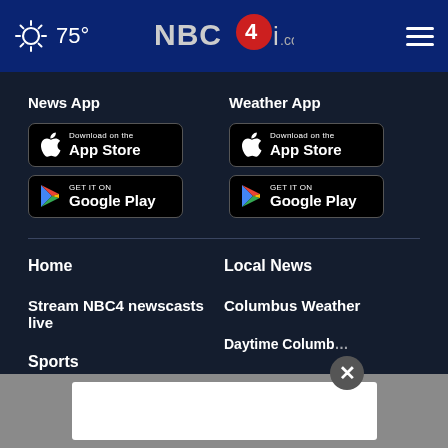75° NBC4i.com navigation bar
News App
[Figure (screenshot): Download on the App Store button (black)]
[Figure (screenshot): GET IT ON Google Play button (black)]
Weather App
[Figure (screenshot): Download on the App Store button (black)]
[Figure (screenshot): GET IT ON Google Play button (black)]
Home
Local News
Stream NBC4 newscasts live
Columbus Weather
Sports
Daytime Columbus
Contact